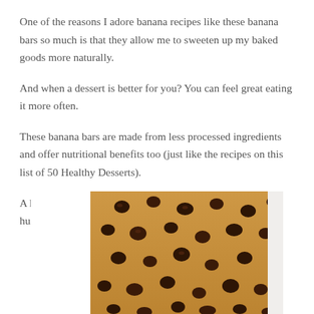One of the reasons I adore banana recipes like these banana bars so much is that they allow me to sweeten up my baked goods more naturally.
And when a dessert is better for you? You can feel great eating it more often.
These banana bars are made from less processed ingredients and offer nutritional benefits too (just like the recipes on this list of 50 Healthy Desserts).
A happy handful of chocolate chips on top certainly doesn’t hurt their appeal either!
[Figure (photo): Close-up photo of banana bars topped with chocolate chips, showing a golden-brown baked surface with scattered dark chocolate chips.]